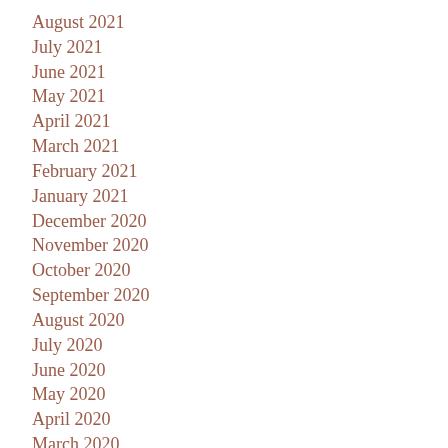August 2021
July 2021
June 2021
May 2021
April 2021
March 2021
February 2021
January 2021
December 2020
November 2020
October 2020
September 2020
August 2020
July 2020
June 2020
May 2020
April 2020
March 2020
February 2020